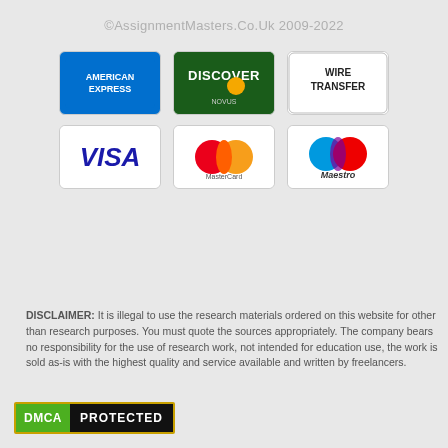©AssignmentMasters.Co.Uk 2009-2022
[Figure (logo): Payment method logos: American Express, Discover Novus, Wire Transfer, Visa, MasterCard, Maestro]
DISCLAIMER: It is illegal to use the research materials ordered on this website for other than research purposes. You must quote the sources appropriately. The company bears no responsibility for the use of research work, not intended for education use, the work is sold as-is with the highest quality and service available and written by freelancers.
[Figure (logo): DMCA PROTECTED badge]